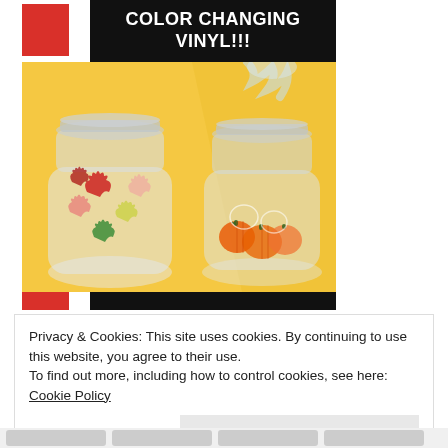[Figure (photo): Color changing vinyl product promotional image showing two mason jars with fall-themed vinyl decorations (leaves and pumpkins) on a yellow background, with text header 'COLOR CHANGING VINYL!!!']
Privacy & Cookies: This site uses cookies. By continuing to use this website, you agree to their use.
To find out more, including how to control cookies, see here: Cookie Policy
Close and accept